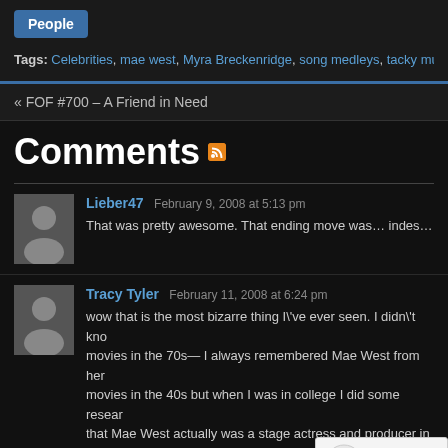People
Tags: Celebrities, mae west, Myra Breckenridge, song medleys, tacky music
« FOF #700 – A Friend in Need
Comments
Lieber47  February 9, 2008 at 5:13 pm
That was pretty awesome. That ending move was… indescrib
Tracy Tyler  February 11, 2008 at 6:24 pm
wow that is the most bizarre thing I've ever seen. I didn't know movies in the 70s— I always remembered Mae West from her movies in the 40s but when I was in college I did some research that Mae West actually was a stage actress and producer in the any old broadway producer, she was a pioneer for gay rights a plays. She is thought to have produced the first ga "The Drag". She was even arrested for public ob produced. Her obsession with female impersonato Savoy, who was a female impersonator in her era herself was a transexual. She even had special shoes made f